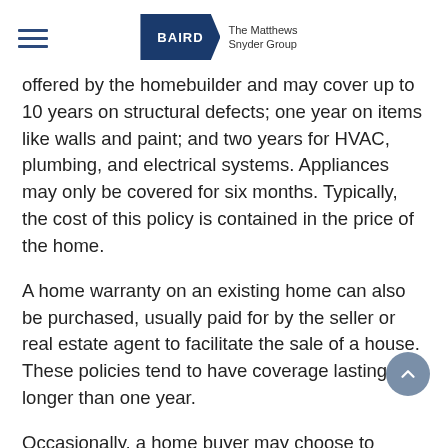BAIRD The Matthews Snyder Group
offered by the homebuilder and may cover up to 10 years on structural defects; one year on items like walls and paint; and two years for HVAC, plumbing, and electrical systems. Appliances may only be covered for six months. Typically, the cost of this policy is contained in the price of the home.
A home warranty on an existing home can also be purchased, usually paid for by the seller or real estate agent to facilitate the sale of a house. These policies tend to have coverage lasting no longer than one year.
Occasionally, a home buyer may choose to purchase a policy, for instance, in the case of buying